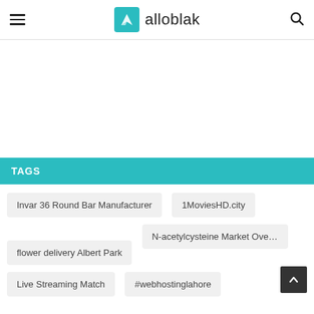alloblak
TAGS
Invar 36 Round Bar Manufacturer
1MoviesHD.city
flower delivery Albert Park
N-acetylcysteine Market Overv…
Live Streaming Match
#webhostinglahore